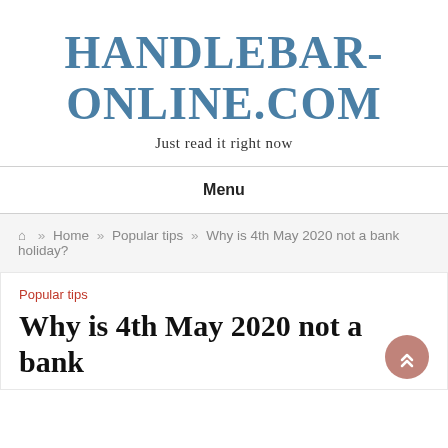HANDLEBAR-ONLINE.COM
Just read it right now
Menu
Home » Popular tips » Why is 4th May 2020 not a bank holiday?
Popular tips
Why is 4th May 2020 not a bank